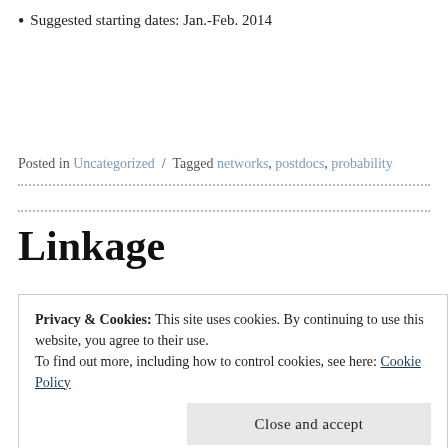Suggested starting dates: Jan.-Feb. 2014
Posted in Uncategorized / Tagged networks, postdocs, probability
Linkage
Privacy & Cookies: This site uses cookies. By continuing to use this website, you agree to their use.
To find out more, including how to control cookies, see here: Cookie Policy